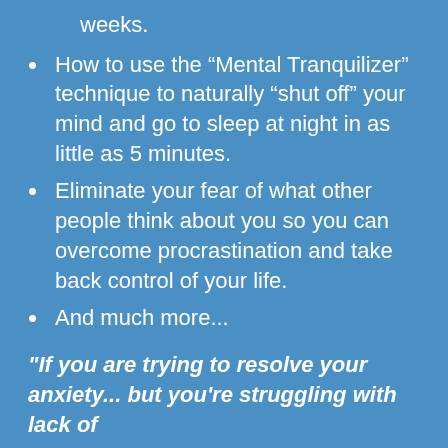weeks.
How to use the “Mental Tranquilizer” technique to naturally “shut off” your mind and go to sleep at night in as little as 5 minutes.
Eliminate your fear of what other people think about you so you can overcome procrastination and take back control of your life.
And much more...
"If you are trying to resolve your anxiety... but you're struggling with lack of